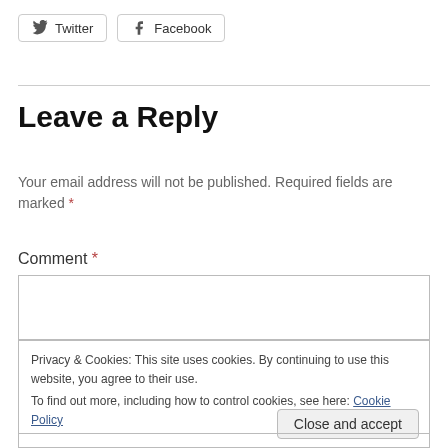[Figure (other): Twitter share button with bird icon]
[Figure (other): Facebook share button with f icon]
Leave a Reply
Your email address will not be published. Required fields are marked *
Comment *
Privacy & Cookies: This site uses cookies. By continuing to use this website, you agree to their use.
To find out more, including how to control cookies, see here: Cookie Policy
Close and accept